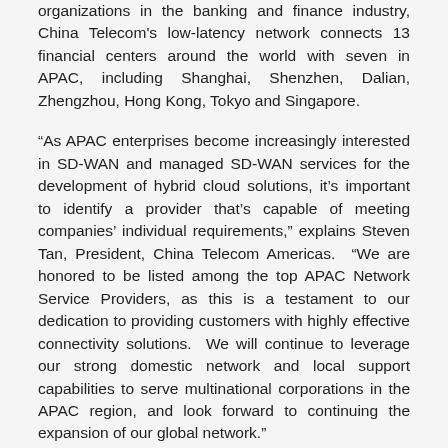organizations in the banking and finance industry, China Telecom's low-latency network connects 13 financial centers around the world with seven in APAC, including Shanghai, Shenzhen, Dalian, Zhengzhou, Hong Kong, Tokyo and Singapore.
“As APAC enterprises become increasingly interested in SD-WAN and managed SD-WAN services for the development of hybrid cloud solutions, it’s important to identify a provider that’s capable of meeting companies’ individual requirements,” explains Steven Tan, President, China Telecom Americas.  “We are honored to be listed among the top APAC Network Service Providers, as this is a testament to our dedication to providing customers with highly effective connectivity solutions.  We will continue to leverage our strong domestic network and local support capabilities to serve multinational corporations in the APAC region, and look forward to continuing the expansion of our global network.”